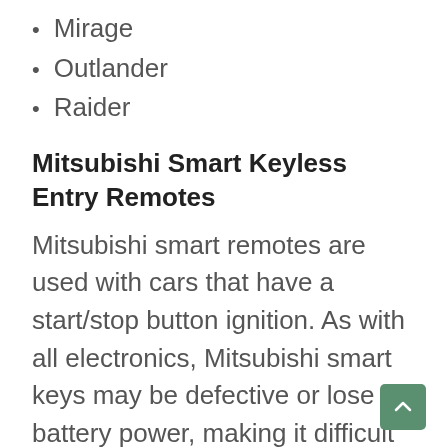Mirage
Outlander
Raider
Mitsubishi Smart Keyless Entry Remotes
Mitsubishi smart remotes are used with cars that have a start/stop button ignition. As with all electronics, Mitsubishi smart keys may be defective or lose battery power, making it difficult to use your car. Only a few Mitsubishi vehicles use smart